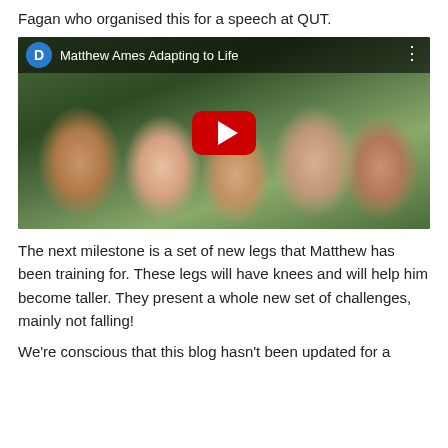Fagan who organised this for a speech at QUT.
[Figure (screenshot): YouTube video thumbnail showing a family photo with a woman and four children smiling outdoors. The video is titled 'Matthew Ames Adapting to Life' with a blue 'D' avatar icon and YouTube play button overlay.]
The next milestone is a set of new legs that Matthew has been training for. These legs will have knees and will help him become taller. They present a whole new set of challenges, mainly not falling!
We're conscious that this blog hasn't been updated for a